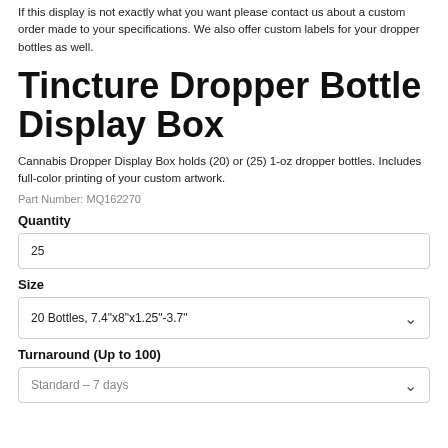If this display is not exactly what you want please contact us about a custom order made to your specifications. We also offer custom labels for your dropper bottles as well.
Tincture Dropper Bottle Display Box
Cannabis Dropper Display Box holds (20) or (25) 1-oz dropper bottles. Includes full-color printing of your custom artwork.
Part Number: MQ162270
Quantity
25
Size
20 Bottles, 7.4"x8"x1.25"-3.7"
Turnaround (Up to 100)
Standard – 7 days